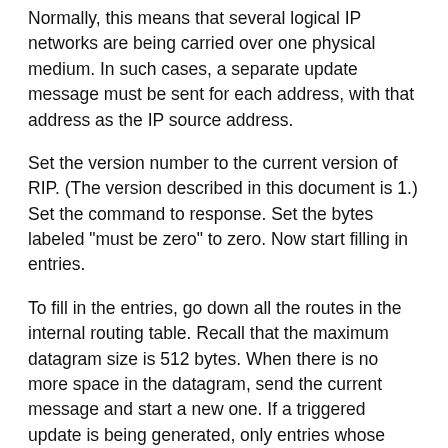Normally, this means that several logical IP networks are being carried over one physical medium. In such cases, a separate update message must be sent for each address, with that address as the IP source address.
Set the version number to the current version of RIP. (The version described in this document is 1.) Set the command to response. Set the bytes labeled "must be zero" to zero. Now start filling in entries.
To fill in the entries, go down all the routes in the internal routing table. Recall that the maximum datagram size is 512 bytes. When there is no more space in the datagram, send the current message and start a new one. If a triggered update is being generated, only entries whose route change flags are set need be included.
See the description in Section 3.2 for a discussion of problems raised by subnet and host routes. Routes to subnets will be meaningless outside the network, and must be omitted if the destination is not on the same subnetted network; they should be replaced with a single route to the